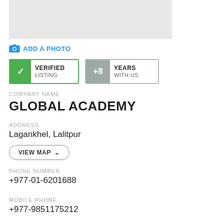[Figure (photo): Gray placeholder image area for business/listing photo]
ADD A PHOTO
VERIFIED LISTING
+8 YEARS WITH US
COMPANY NAME
GLOBAL ACADEMY
ADDRESS
Lagankhel, Lalitpur
VIEW MAP
PHONE NUMBER
+977-01-6201688
MOBILE PHONE
+977-9851175212